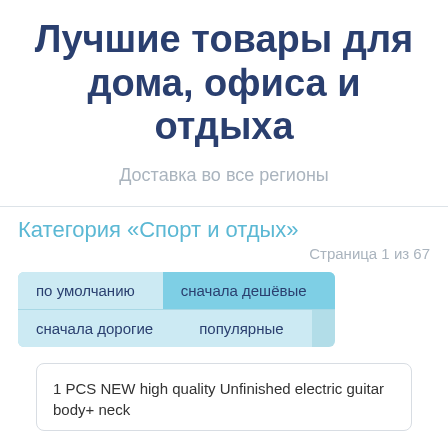Лучшие товары для дома, офиса и отдыха
Доставка во все регионы
Категория «Спорт и отдых»
Страница 1 из 67
по умолчанию
сначала дешёвые
сначала дорогие
популярные
1 PCS NEW high quality Unfinished electric guitar body+ neck